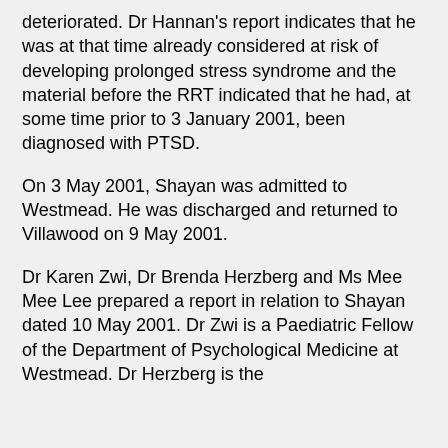deteriorated. Dr Hannan's report indicates that he was at that time already considered at risk of developing prolonged stress syndrome and the material before the RRT indicated that he had, at some time prior to 3 January 2001, been diagnosed with PTSD.
On 3 May 2001, Shayan was admitted to Westmead. He was discharged and returned to Villawood on 9 May 2001.
Dr Karen Zwi, Dr Brenda Herzberg and Ms Mee Mee Lee prepared a report in relation to Shayan dated 10 May 2001. Dr Zwi is a Paediatric Fellow of the Department of Psychological Medicine at Westmead. Dr Herzberg is the